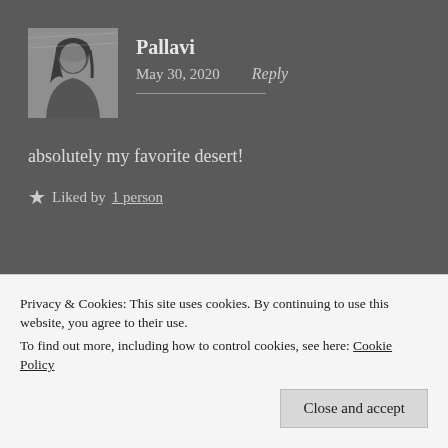[Figure (photo): Black and white profile photo of a woman named Pallavi]
Pallavi
May 30, 2020   Reply
absolutely my favorite desert!
★ Liked by 1 person
Privacy & Cookies: This site uses cookies. By continuing to use this website, you agree to their use.
To find out more, including how to control cookies, see here: Cookie Policy
Close and accept